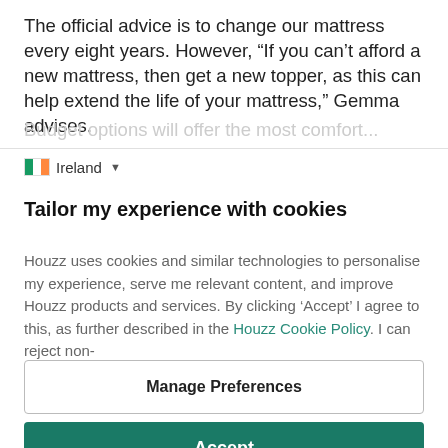The official advice is to change our mattress every eight years. However, “If you can’t afford a new mattress, then get a new topper, as this can help extend the life of your mattress,” Gemma advises.
Budget options will offer the most comfort...
Ireland ▾
Tailor my experience with cookies
Houzz uses cookies and similar technologies to personalise my experience, serve me relevant content, and improve Houzz products and services. By clicking ‘Accept’ I agree to this, as further described in the Houzz Cookie Policy. I can reject non-
Manage Preferences
Accept